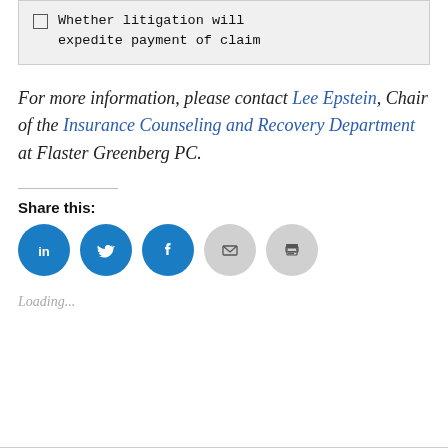☐  Whether litigation will expedite payment of claim
For more information, please contact Lee Epstein, Chair of the Insurance Counseling and Recovery Department at Flaster Greenberg PC.
Share this:
[Figure (other): Row of five social share buttons: LinkedIn (blue), Twitter (blue), Facebook (blue), Email (gray), Print (gray)]
Loading...